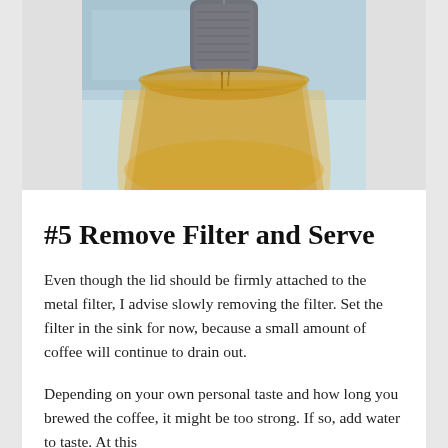[Figure (photo): Close-up photo of a metal coffee filter draining coffee into a glass vessel, with golden/amber colored liquid visible and a blurred background]
#5 Remove Filter and Serve
Even though the lid should be firmly attached to the metal filter, I advise slowly removing the filter. Set the filter in the sink for now, because a small amount of coffee will continue to drain out.
Depending on your own personal taste and how long you brewed the coffee, it might be too strong. If so, add water to taste. At this point, you can serve it or give it a...